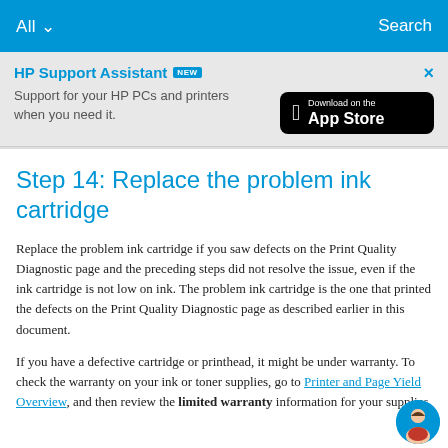All ∨   Search
[Figure (screenshot): HP Support Assistant banner with NEW badge, text 'Support for your HP PCs and printers when you need it.', Download on the App Store button, and close X button]
Step 14: Replace the problem ink cartridge
Replace the problem ink cartridge if you saw defects on the Print Quality Diagnostic page and the preceding steps did not resolve the issue, even if the ink cartridge is not low on ink. The problem ink cartridge is the one that printed the defects on the Print Quality Diagnostic page as described earlier in this document.
If you have a defective cartridge or printhead, it might be under warranty. To check the warranty on your ink or toner supplies, go to Printer and Page Yield Overview, and then review the limited warranty information for your supplies.